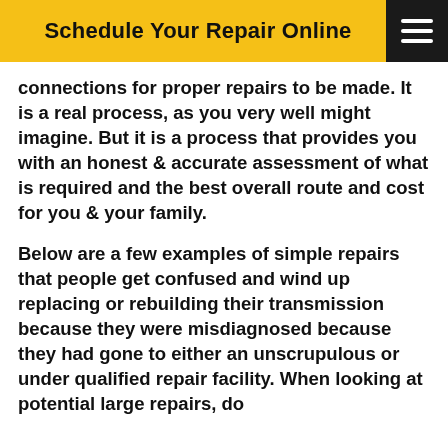Schedule Your Repair Online
connections for proper repairs to be made. It is a real process, as you very well might imagine. But it is a process that provides you with an honest & accurate assessment of what is required and the best overall route and cost for you & your family.
Below are a few examples of simple repairs that people get confused and wind up replacing or rebuilding their transmission because they were misdiagnosed because they had gone to either an unscrupulous or under qualified repair facility. When looking at potential large repairs, do